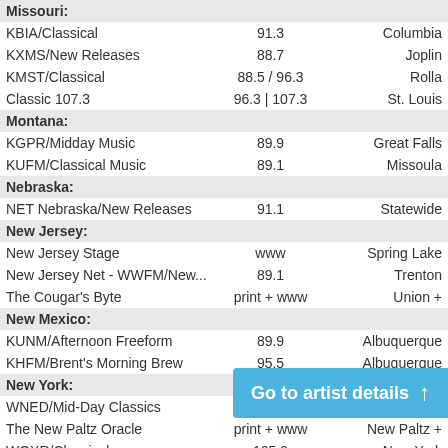| Station | Frequency | City |
| --- | --- | --- |
| Missouri: |  |  |
| KBIA/Classical | 91.3 | Columbia |
| KXMS/New Releases | 88.7 | Joplin |
| KMST/Classical | 88.5 / 96.3 | Rolla |
| Classic 107.3 | 96.3 | 107.3 | St. Louis |
| Montana: |  |  |
| KGPR/Midday Music | 89.9 | Great Falls |
| KUFM/Classical Music | 89.1 | Missoula |
| Nebraska: |  |  |
| NET Nebraska/New Releases | 91.1 | Statewide |
| New Jersey: |  |  |
| New Jersey Stage | www | Spring Lake |
| New Jersey Net - WWFM/New... | 89.1 | Trenton |
| The Cougar's Byte | print + www | Union + |
| New Mexico: |  |  |
| KUNM/Afternoon Freeform | 89.9 | Albuquerque |
| KHFM/Brent's Morning Brew | 95.5 | Albuquerque |
| New York: |  |  |
| WNED/Mid-Day Classics | 94.5 | Buffalo |
| The New Paltz Oracle | print + www | New Paltz + |
| WQXR/Classical | 105.9 | New York |
| NATIONAL REVIEW | print... |  |
| WXXI/Classical | 91.9 | Rochester |
| WCNY/Classic FM | 91.3 | Syracuse |